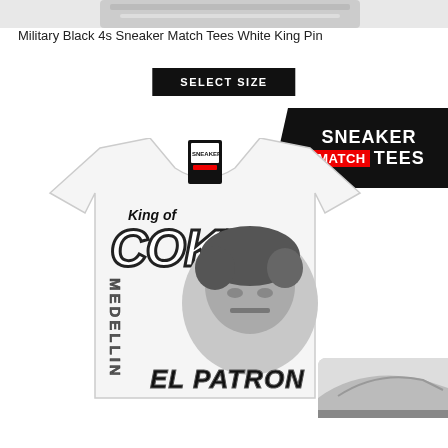[Figure (photo): Partial view of sneaker at top of page]
Military Black 4s Sneaker Match Tees White King Pin
SELECT SIZE
[Figure (photo): White t-shirt with 'King of Coke Medellin El Patron' graphic print featuring a grayscale portrait, with Sneaker Match Tees brand badge in top right corner and partial sneaker visible at bottom right]